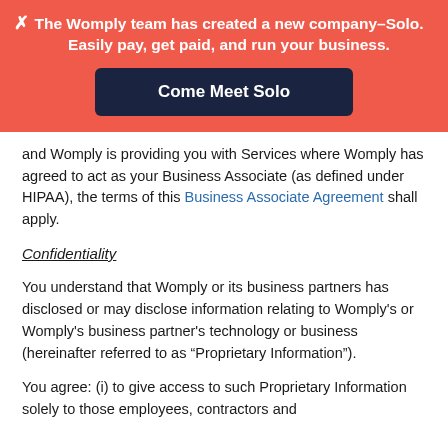[Figure (infographic): Red promotional banner with close button (X), text about Womply creating Solo company, and a dark blue 'Come Meet Solo' button]
and Womply is providing you with Services where Womply has agreed to act as your Business Associate (as defined under HIPAA), the terms of this Business Associate Agreement shall apply.
Confidentiality
You understand that Womply or its business partners has disclosed or may disclose information relating to Womply's or Womply's business partner's technology or business (hereinafter referred to as “Proprietary Information”).
You agree: (i) to give access to such Proprietary Information solely to those employees, contractors and